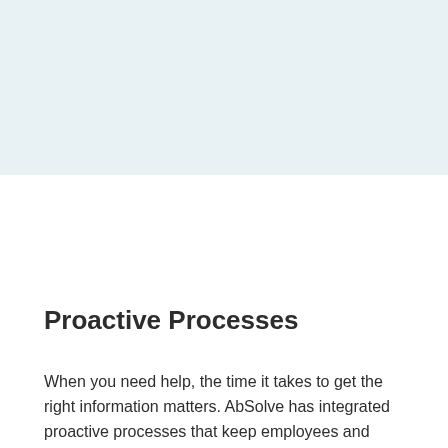[Figure (other): Light blue decorative banner/header area at the top of the page]
Proactive Processes
When you need help, the time it takes to get the right information matters. AbSolve has integrated proactive processes that keep employees and their medical providers engaged while ensuring employers stay coordinated informed. This results in always ensuring that